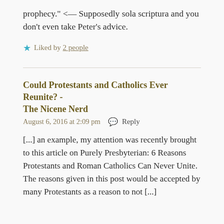prophecy." <— Supposedly sola scriptura and you don't even take Peter's advice.
★ Liked by 2 people
Could Protestants and Catholics Ever Reunite? - The Nicene Nerd
August 6, 2016 at 2:09 pm   💬 Reply
[...] an example, my attention was recently brought to this article on Purely Presbyterian: 6 Reasons Protestants and Roman Catholics Can Never Unite. The reasons given in this post would be accepted by many Protestants as a reason to not [...]